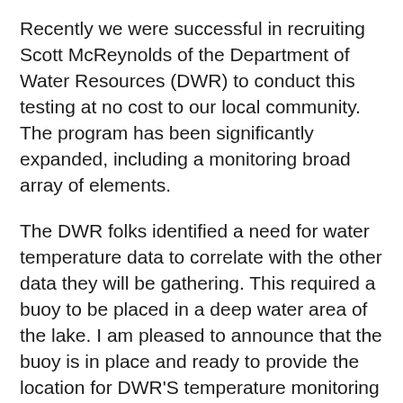Recently we were successful in recruiting Scott McReynolds of the Department of Water Resources (DWR) to conduct this testing at no cost to our local community. The program has been significantly expanded, including a monitoring broad array of elements.
The DWR folks identified a need for water temperature data to correlate with the other data they will be gathering. This required a buoy to be placed in a deep water area of the lake. I am pleased to announce that the buoy is in place and ready to provide the location for DWR'S temperature monitoring “logger” string.
I have to say the buoy placement was a huge cooperative effort and I want to acknowledge those who played such a valuable part in it becoming a reality. First and foremost, the cooperation we received from PG&E was phenomenal. Joe Wilson & Scott Perkins managed to grant permission for placement and produced a permit in record time. The Plumas